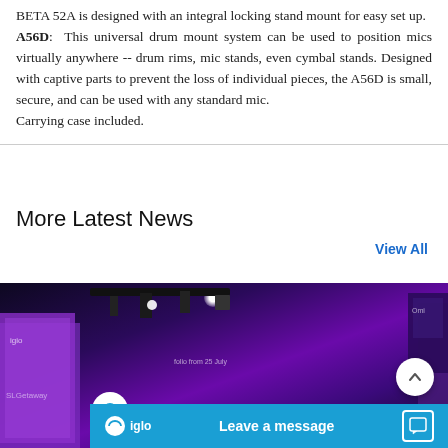BETA 52A is designed with an integral locking stand mount for easy set up. A56D: This universal drum mount system can be used to position mics virtually anywhere -- drum rims, mic stands, even cymbal stands. Designed with captive parts to prevent the loss of individual pieces, the A56D is small, secure, and can be used with any standard mic. Carrying case included.
More Latest News
View All
[Figure (photo): A dark exhibit hall or trade show booth with purple and blue lighting, ceiling-mounted equipment, and display screens. An iglo chat widget appears at the bottom with 'Leave a message' text.]